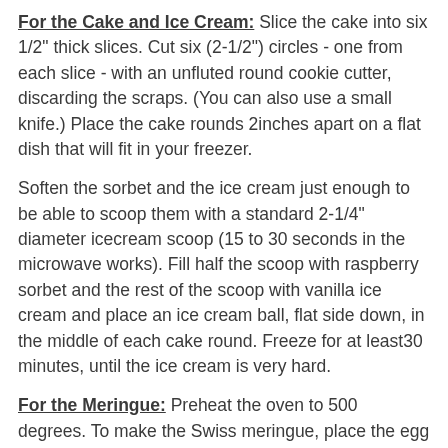For the Cake and Ice Cream: Slice the cake into six 1/2" thick slices. Cut six (2-1/2") circles - one from each slice - with an unfluted round cookie cutter, discarding the scraps. (You can also use a small knife.) Place the cake rounds 2inches apart on a flat dish that will fit in your freezer.
Soften the sorbet and the ice cream just enough to be able to scoop them with a standard 2-1/4" diameter icecream scoop (15 to 30 seconds in the microwave works). Fill half the scoop with raspberry sorbet and the rest of the scoop with vanilla ice cream and place an ice cream ball, flat side down, in the middle of each cake round. Freeze for at least30 minutes, until the ice cream is very hard.
For the Meringue: Preheat the oven to 500 degrees. To make the Swiss meringue, place the egg whites and sugar in a heat proof glass bowl set over a pan of simmering water. Whisk the mixture almost constantly, until it reaches 120 degrees on a candy thermometer and the sugar has dissolved (see tip). Pour the mixture into the bowl of an electric mixer fitted with the whisk attachment. Add the vanilla, cream of tartar, and salt and beat on medium speed for one minute, then on high speed for 5 minutes, until the